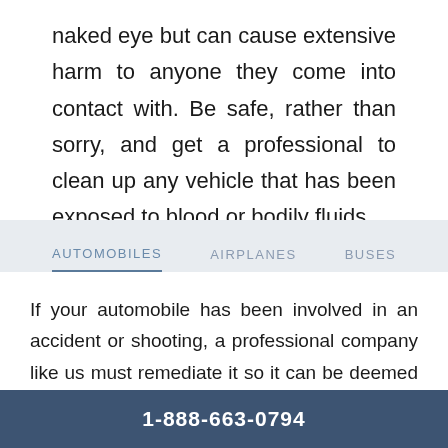naked eye but can cause extensive harm to anyone they come into contact with. Be safe, rather than sorry, and get a professional to clean up any vehicle that has been exposed to blood or bodily fluids.
AUTOMOBILES   AIRPLANES   BUSES
If your automobile has been involved in an accident or shooting, a professional company like us must remediate it so it can be deemed safe, insurable, and
1-888-663-0794